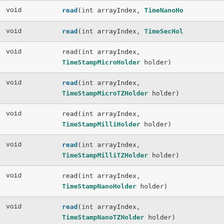| Return | Method |
| --- | --- |
| void | read(int arrayIndex, TimeNanoHo... |
| void | read(int arrayIndex, TimeSecHol... |
| void | read(int arrayIndex,
TimeStampMicroHolder holder) |
| void | read(int arrayIndex,
TimeStampMicroTZHolder holder) |
| void | read(int arrayIndex,
TimeStampMilliHolder holder) |
| void | read(int arrayIndex,
TimeStampMilliTZHolder holder) |
| void | read(int arrayIndex,
TimeStampNanoHolder holder) |
| void | read(int arrayIndex,
TimeStampNanoTZHolder holder) |
| void | read(int arrayIndex,
TimeStampSecHolder holder) |
| void | read(int arrayIndex,
TimeStampSecTZHolder holder) |